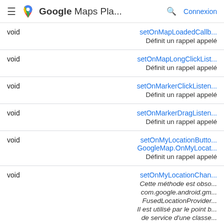Google Maps Pla...  Connexion
| Type | Method / Description |
| --- | --- |
| void | setOnMapLoadedCallb...
Définit un rappel appelé |
| void | setOnMapLongClickList...
Définit un rappel appelé |
| void | setOnMarkerClickListen...
Définit un rappel appelé |
| void | setOnMarkerDragListen...
Définit un rappel appelé |
| void | setOnMyLocationButto...
GoogleMap.OnMyLocat...
Définit un rappel appelé |
| void | setOnMyLocationChan...
Cette méthode est obso...
com.google.android.gm...
FusedLocationProvider...
Il est utilisé par le point b...
de service d'une classe... |